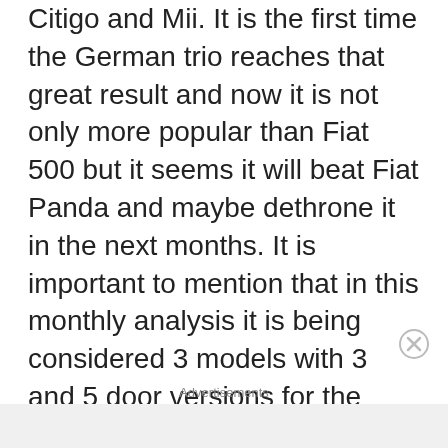Citigo and Mii. It is the first time the German trio reaches that great result and now it is not only more popular than Fiat 500 but it seems it will beat Fiat Panda and maybe dethrone it in the next months. It is important to mention that in this monthly analysis it is being considered 3 models with 3 and 5 door versions for the VW/Skoda/Seat against one single model of Fiat 500 with only 3 doors option and the two latest generations of Fiat Panda, only available with 5 door body.  Anyway, the Panda has been always Europe's best selling A-Segment car but it has had a tough time not only in its native
Advertisements